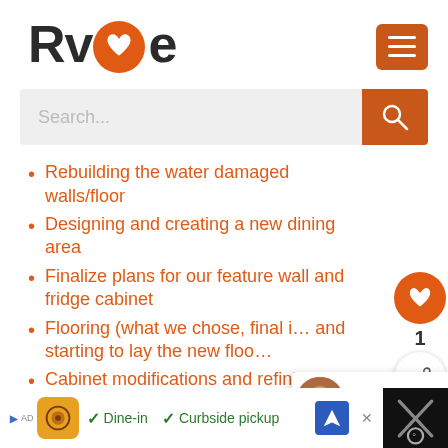[Figure (logo): RVLove logo with orange O containing heart, and orange hamburger menu button]
[Figure (screenshot): Search bar with placeholder text 'Search...' and orange search button]
Rebuilding the water damaged walls/floor
Designing and creating a new dining area
Finalize plans for our feature wall and fridge cabinet
Flooring (what we chose, final … and starting to lay the new floo…
Cabinet modifications and refinishing
[Figure (infographic): Floating right side: orange heart circle button with count '1' and share button]
[Figure (infographic): What's Next arrow panel: avatar photo, WHAT'S NEXT → RV Makeover]
[Figure (infographic): Bottom ad bar: Chipotle ad with Dine-in and Curbside pickup checkmarks]